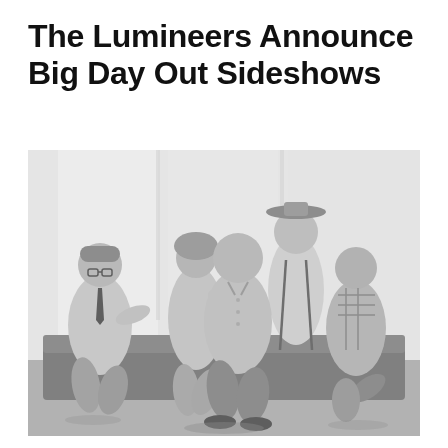The Lumineers Announce Big Day Out Sideshows
[Figure (photo): Black and white photograph of five people (The Lumineers band members) seated casually on a couch/seating area. From left: a man with glasses and a beanie hat wearing a tie; a woman with her arm on the central figure's shoulder; a man in the center in a denim shirt; a tall man with a fedora hat and suspenders standing/leaning behind; a man on the right in a plaid shirt with legs crossed. The background shows large windows with light coming through. The mood is relaxed and candid.]